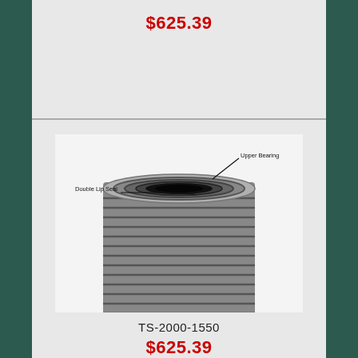$625.39
[Figure (photo): Close-up photo of a mechanical component (TS-2000-1550) viewed from the top end, showing a cylindrical tube with spiral/helical threading on the outside and a dark hollow bore. Two callout labels are annotated on the image: 'Upper Bearing' pointing to the top inner ring area, and 'Double Lip Seal' pointing to the seal area below it.]
TS-2000-1550
$625.39